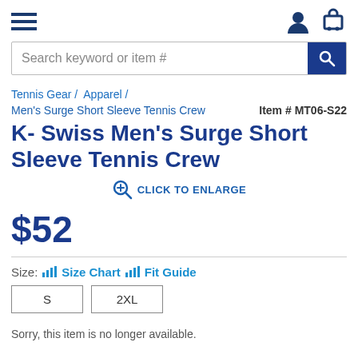Navigation header with hamburger menu, user icon, and cart icon
Search keyword or item #
Tennis Gear / Apparel /
Men's Surge Short Sleeve Tennis Crew   Item # MT06-S22
K- Swiss Men's Surge Short Sleeve Tennis Crew
CLICK TO ENLARGE
$52
Size:  Size Chart  Fit Guide
S   2XL
Sorry, this item is no longer available.